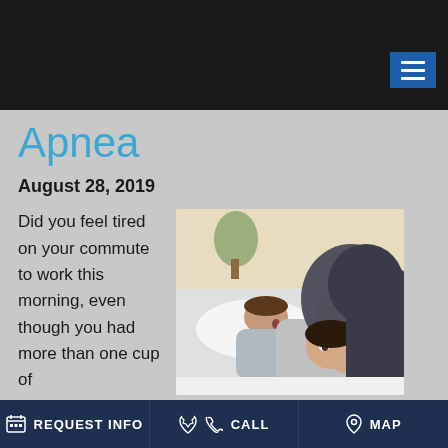Apnea
August 28, 2019
Did you feel tired on your commute to work this morning, even though you had more than one cup of
[Figure (photo): A couple in bed, woman covering ears with pillow looking frustrated while man sleeps with mouth open, depicting sleep apnea / snoring scenario]
REQUEST INFO   CALL   MAP